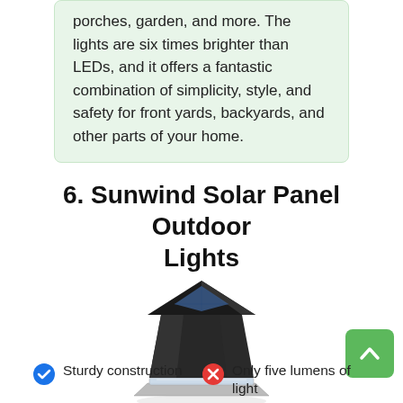porches, garden, and more. The lights are six times brighter than LEDs, and it offers a fantastic combination of simplicity, style, and safety for front yards, backyards, and other parts of your home.
6. Sunwind Solar Panel Outdoor Lights
[Figure (photo): Product photo of a black solar panel outdoor post cap light with transparent base section]
[Figure (other): Green rounded button with sun icon and text 'View on Amazon']
[Figure (other): Green scroll-to-top button with upward chevron arrow]
Sturdy construction
Only five lumens of light